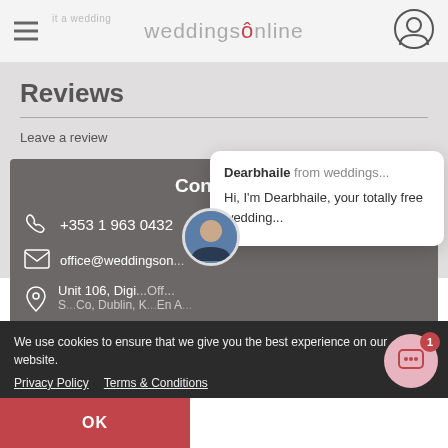weddingsonline
Reviews
Leave a review
Contact us
+353 1 963 0432
office@weddingson...
Unit 106, Digi...Off...
[Figure (screenshot): Chat popup overlay showing 'Dearbhaile from weddings...' and message 'Hi, I'm Dearbhaile, your totally free wedding...' with avatar image]
We use cookies to ensure that we give you the best experience on our website.
Privacy Policy   Terms & Conditions
OK